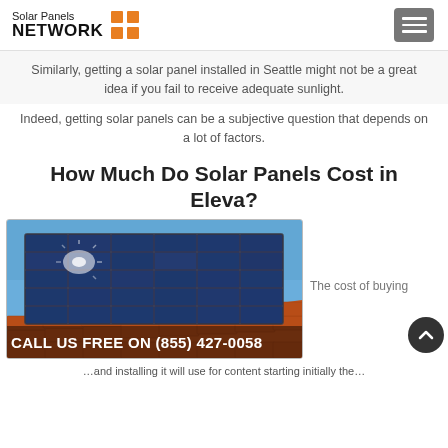Solar Panels NETWORK
Similarly, getting a solar panel installed in Seattle might not be a great idea if you fail to receive adequate sunlight.
Indeed, getting solar panels can be a subjective question that depends on a lot of factors.
How Much Do Solar Panels Cost in Eleva?
[Figure (photo): Solar panels mounted on an orange tiled roof against a blue sky, with sunlight reflecting off the panels. A call-to-action bar reads CALL US FREE ON (855) 427-0058.]
The cost of buying
...and installing it will use for content starting initially the...